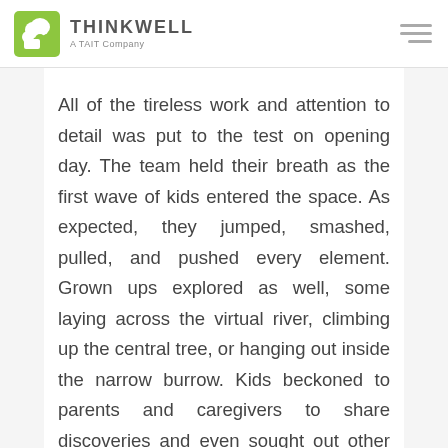THINKWELL A TAIT Company
All of the tireless work and attention to detail was put to the test on opening day. The team held their breath as the first wave of kids entered the space. As expected, they jumped, smashed, pulled, and pushed every element. Grown ups explored as well, some laying across the virtual river, climbing up the central tree, or hanging out inside the narrow burrow. Kids beckoned to parents and caregivers to share discoveries and even sought out other kids to help with cooperative games. They had turned over stones, climbed